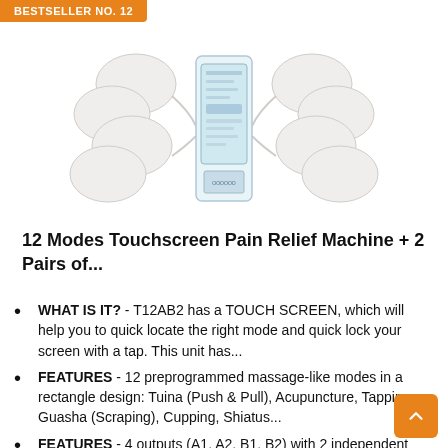BESTSELLER NO. 12
[Figure (photo): Product photo of a TENS pain relief machine with touchscreen display, flanked by white electrode pads connected by wires]
12 Modes Touchscreen Pain Relief Machine + 2 Pairs of...
WHAT IS IT? - T12AB2 has a TOUCH SCREEN, which will help you to quick locate the right mode and quick lock your screen with a tap. This unit has...
FEATURES - 12 preprogrammed massage-like modes in a rectangle design: Tuina (Push & Pull), Acupuncture, Tapping, Guasha (Scraping), Cupping, Shiatus...
FEATURES - 4 outputs (A1, A2, B1, B2) with 2 independent channels A and B, both channel A and B have the same 100% power, without reducing strength in...